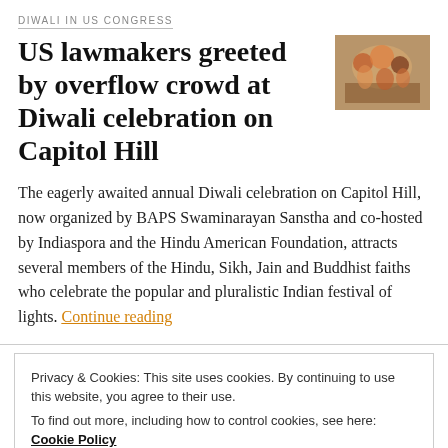DIWALI IN US CONGRESS
US lawmakers greeted by overflow crowd at Diwali celebration on Capitol Hill
[Figure (photo): Thumbnail photo of Diwali celebration event with people in colorful attire]
The eagerly awaited annual Diwali celebration on Capitol Hill, now organized by BAPS Swaminarayan Sanstha and co-hosted by Indiaspora and the Hindu American Foundation, attracts several members of the Hindu, Sikh, Jain and Buddhist faiths who celebrate the popular and pluralistic Indian festival of lights. Continue reading
Privacy & Cookies: This site uses cookies. By continuing to use this website, you agree to their use.
To find out more, including how to control cookies, see here: Cookie Policy
Close and accept
draws over 400 guests